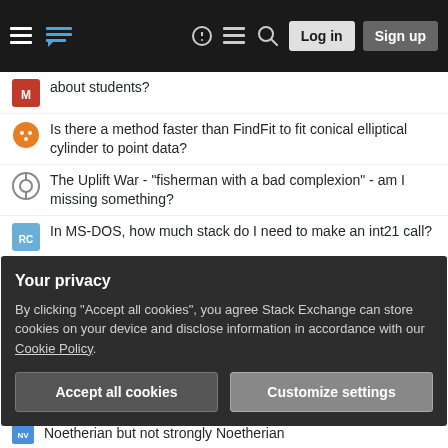Stack Exchange — Log in | Sign up
about students?
Is there a method faster than FindFit to fit conical elliptical cylinder to point data?
The Uplift War - "fisherman with a bad complexion" - am I missing something?
In MS-DOS, how much stack do I need to make an int21 call?
Does a US President have to file any paperwork to declassify information?
What is the name of this concept involving hashes?
Why does sort have an --output= option?
What is the most accurate approach for de Novo sequencing?
Your privacy
By clicking "Accept all cookies", you agree Stack Exchange can store cookies on your device and disclose information in accordance with our Cookie Policy.
Noetherian but not strongly Noetherian